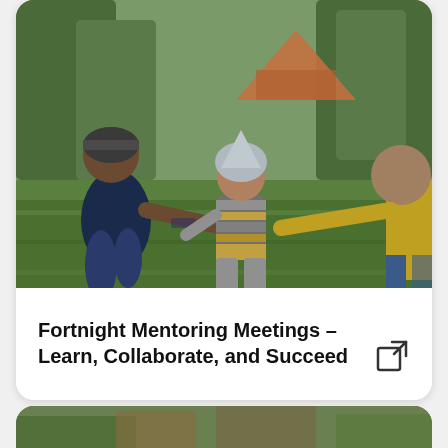[Figure (photo): Outdoor photo showing an adult crouching on the left reaching toward a toddler in a striped sweater and grey hat walking in the middle, with another person on the right in a yellow sleeve, set on a grassy area with trees and a structure in the background]
Fortnight Mentoring Meetings – Learn, Collaborate, and Succeed
[Figure (photo): Partial view of a second photo at the bottom of the page, showing an outdoor scene]